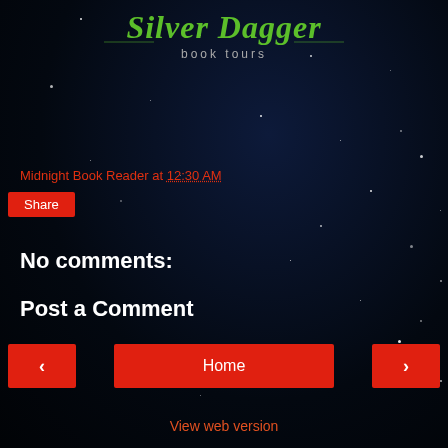[Figure (logo): Silver Dagger Book Tours logo in green script with 'book tours' text below]
Midnight Book Reader at 12:30 AM
Share
No comments:
Post a Comment
< Home >
View web version